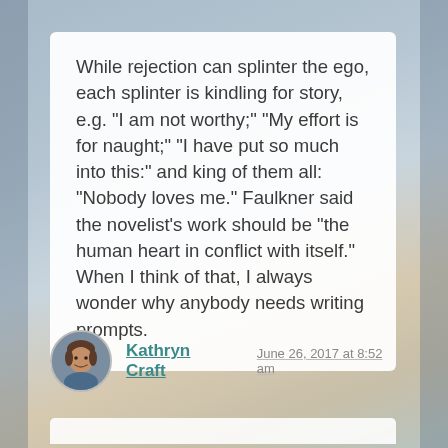While rejection can splinter the ego, each splinter is kindling for story, e.g. "I am not worthy;" "My effort is for naught;" "I have put so much into this:" and king of them all: "Nobody loves me." Faulkner said the novelist's work should be "the human heart in conflict with itself." When I think of that, I always wonder why anybody needs writing prompts.
Kathryn Craft
June 26, 2017 at 8:52 am